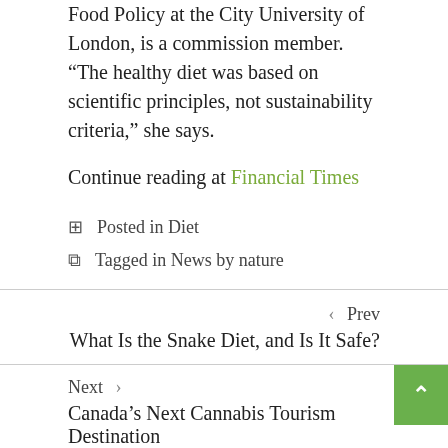Food Policy at the City University of London, is a commission member. “The healthy diet was based on scientific principles, not sustainability criteria,” she says.
Continue reading at Financial Times
Posted in Diet
Tagged in News by nature
‹ Prev
What Is the Snake Diet, and Is It Safe?
Next ›
Canada’s Next Cannabis Tourism Destination